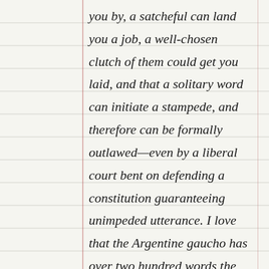you by, a satcheful can land you a job, a well-chosen clutch of them could get you laid, and that a solitary word can initiate a stampede, and therefore can be formally outlawed—even by a liberal court bent on defending a constitution guaranteeing unimpeded utterance. I love that the Argentine gaucho has over two hundred words the coloration of horses and the Sami language of Scandinavia has over a thousand words for reindeer based on age, sex, appearance—e.g. a busat has big balls or only one big ball. More than the pristine, I love the filthy ones for their descriptive talent as well as transgressive nature. I